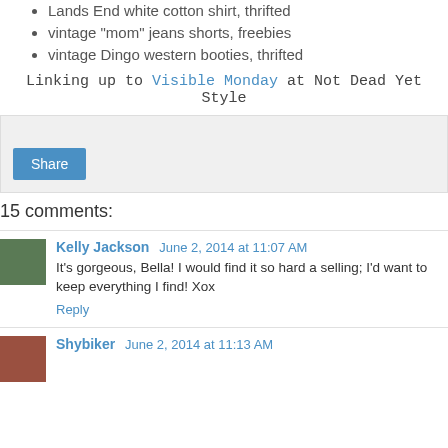Lands End white cotton shirt, thrifted
vintage "mom" jeans shorts, freebies
vintage Dingo western booties, thrifted
Linking up to Visible Monday at Not Dead Yet Style
[Figure (other): Share button widget area with light gray background]
15 comments:
Kelly Jackson June 2, 2014 at 11:07 AM
It's gorgeous, Bella! I would find it so hard a selling; I'd want to keep everything I find! Xox
Reply
Shybiker June 2, 2014 at 11:13 AM